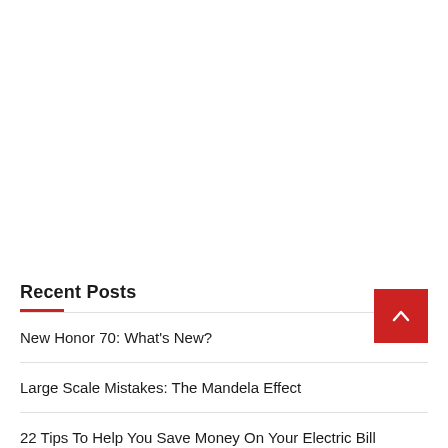Recent Posts
New Honor 70: What's New?
Large Scale Mistakes: The Mandela Effect
22 Tips To Help You Save Money On Your Electric Bill